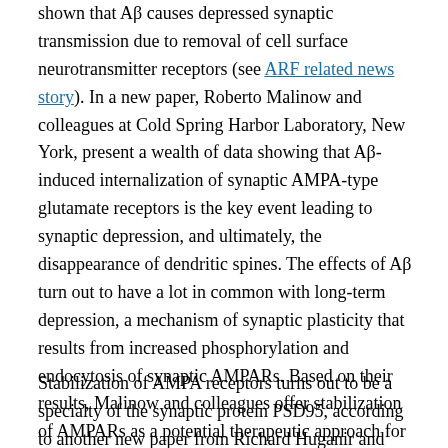shown that Aβ causes depressed synaptic transmission due to removal of cell surface neurotransmitter receptors (see ARF related news story). In a new paper, Roberto Malinow and colleagues at Cold Spring Harbor Laboratory, New York, present a wealth of data showing that Aβ-induced internalization of synaptic AMPA-type glutamate receptors is the key event leading to synaptic depression, and ultimately, the disappearance of dendritic spines. The effects of Aβ turn out to have a lot in common with long-term depression, a mechanism of synaptic plasticity that results from increased phosphorylation and endocytosis of synaptic AMPARs. Based on their results, Malinow and colleagues offer stabilization of AMPARs as a potential therapeutic approach for Alzheimer disease.
Stabilization of AMPA receptors turns out to be a specialty of the synaptic protein PSD95, according to another new paper from Richard Huganir and colleagues at Johns